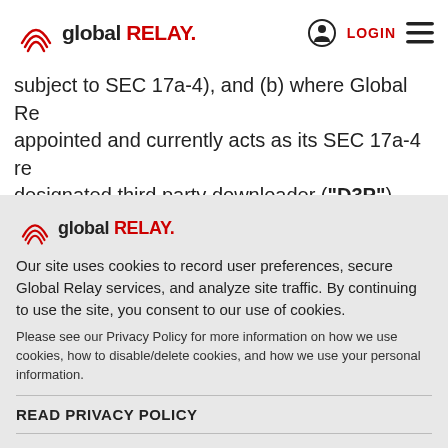global RELAY. LOGIN [menu]
subject to SEC 17a-4), and (b) where Global Re appointed and currently acts as its SEC 17a-4 re designated third party downloader ("D3P"). Pro acting in good faith, in connection with its role as
[Figure (logo): Global Relay logo in cookie consent banner]
Our site uses cookies to record user preferences, secure Global Relay services, and analyze site traffic. By continuing to use the site, you consent to our use of cookies.
Please see our Privacy Policy for more information on how we use cookies, how to disable/delete cookies, and how we use your personal information.
READ PRIVACY POLICY
ACCEPT COOKIES